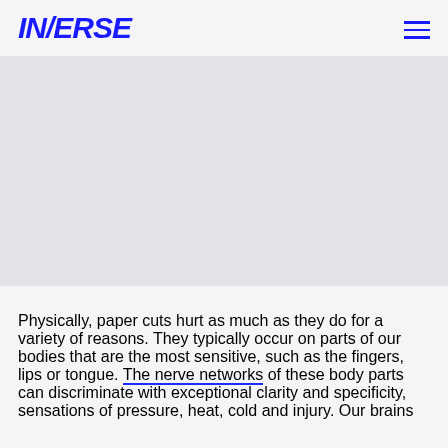INVERSE
[Figure (photo): Image placeholder area below the header navigation, large grey/light colored block]
Physically, paper cuts hurt as much as they do for a variety of reasons. They typically occur on parts of our bodies that are the most sensitive, such as the fingers, lips or tongue. The nerve networks of these body parts can discriminate with exceptional clarity and specificity, sensations of pressure, heat, cold and injury. Our brains